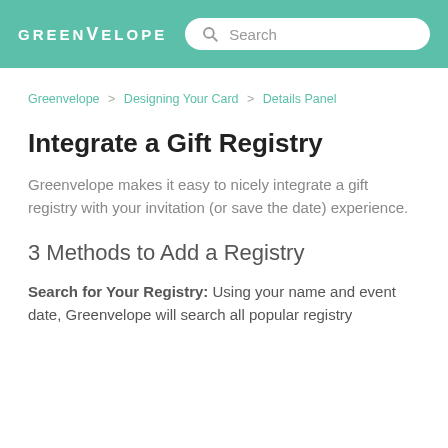GREENVELOPE | Search
Greenvelope > Designing Your Card > Details Panel
Integrate a Gift Registry
Greenvelope makes it easy to nicely integrate a gift registry with your invitation (or save the date) experience.
3 Methods to Add a Registry
Search for Your Registry: Using your name and event date, Greenvelope will search all popular registry